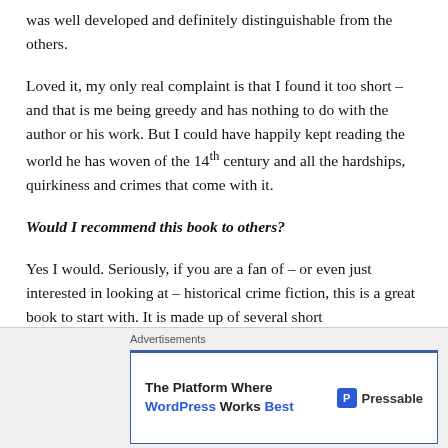was well developed and definitely distinguishable from the others.
Loved it, my only real complaint is that I found it too short – and that is me being greedy and has nothing to do with the author or his work. But I could have happily kept reading the world he has woven of the 14th century and all the hardships, quirkiness and crimes that come with it.
Would I recommend this book to others?
Yes I would. Seriously, if you are a fan of – or even just interested in looking at – historical crime fiction, this is a great book to start with. It is made up of several short
[Figure (other): Advertisement banner: 'The Platform Where WordPress Works Best' by Pressable]